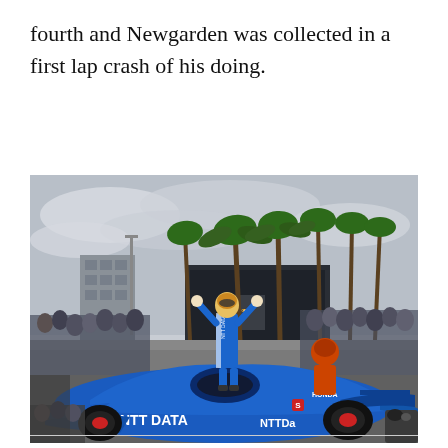fourth and Newgarden was collected in a first lap crash of his doing.
[Figure (photo): A racing driver in a white and blue NTT Data racing suit stands on top of a blue IndyCar number 10 with NTT Data sponsorship, arms raised in celebration. The scene is at a street circuit, with palm trees, a trophy podium display, crowds of spectators and photographers surrounding the car. The car shows HONDA branding.]